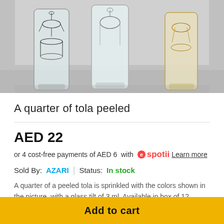[Figure (photo): Three decorative glass tumblers with ornate etched patterns (black and gold designs) standing on a grey surface against a white background.]
A quarter of tola peeled
AED 22
or 4 cost-free payments of AED 6  with  spotii  Learn more
Sold By: AZARI  |  Status: In stock
A quarter of a peeled tola is sprinkled with the colors shown in the picture, with a glass tilt of 3 ml. Available in box of 12
Add to cart